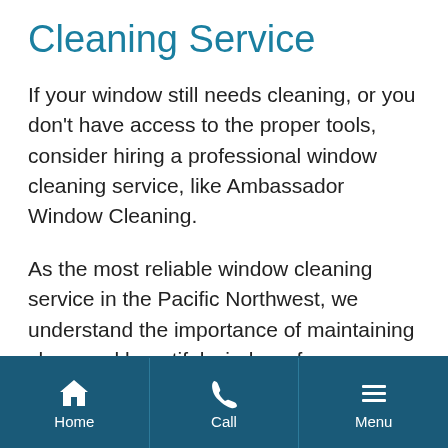Cleaning Service
If your window still needs cleaning, or you don't have access to the proper tools, consider hiring a professional window cleaning service, like Ambassador Window Cleaning.
As the most reliable window cleaning service in the Pacific Northwest, we understand the importance of maintaining clean and beautiful windows for your home or business.
Home | Call | Menu